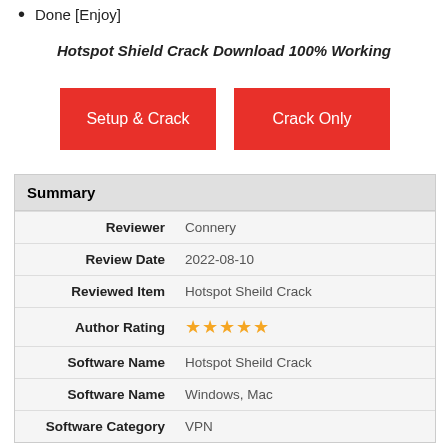Done [Enjoy]
Hotspot Shield Crack Download 100% Working
[Figure (other): Two red download buttons labeled 'Setup & Crack' and 'Crack Only']
| Summary |
| --- |
| Reviewer | Connery |
| Review Date | 2022-08-10 |
| Reviewed Item | Hotspot Sheild Crack |
| Author Rating | ★★★★★ |
| Software Name | Hotspot Sheild Crack |
| Software Name | Windows, Mac |
| Software Category | VPN |